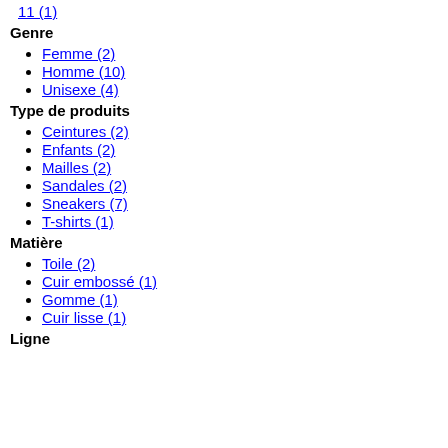11 (1)
Genre
Femme (2)
Homme (10)
Unisexe (4)
Type de produits
Ceintures (2)
Enfants (2)
Mailles (2)
Sandales (2)
Sneakers (7)
T-shirts (1)
Matière
Toile (2)
Cuir embossé (1)
Gomme (1)
Cuir lisse (1)
Ligne